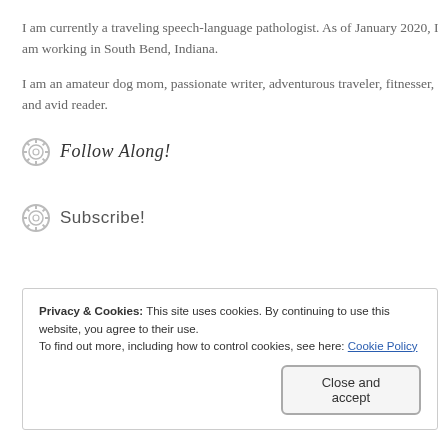I am currently a traveling speech-language pathologist. As of January 2020, I am working in South Bend, Indiana.
I am an amateur dog mom, passionate writer, adventurous traveler, fitnesser, and avid reader.
Follow Along!
Subscribe!
Privacy & Cookies: This site uses cookies. By continuing to use this website, you agree to their use.
To find out more, including how to control cookies, see here: Cookie Policy
Close and accept